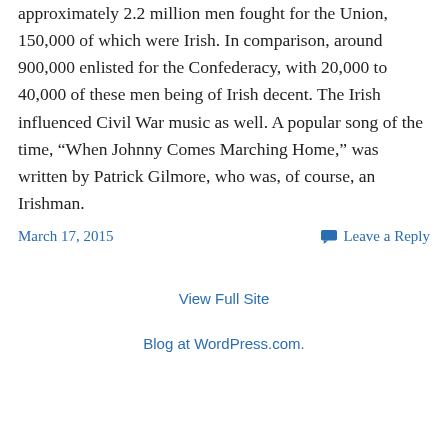approximately 2.2 million men fought for the Union, 150,000 of which were Irish. In comparison, around 900,000 enlisted for the Confederacy, with 20,000 to 40,000 of these men being of Irish decent. The Irish influenced Civil War music as well. A popular song of the time, “When Johnny Comes Marching Home,” was written by Patrick Gilmore, who was, of course, an Irishman.
March 17, 2015
Leave a Reply
View Full Site
Blog at WordPress.com.